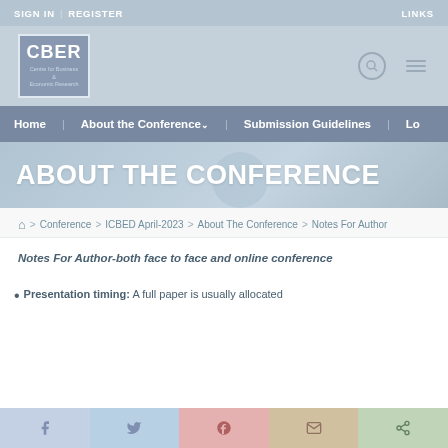SIGN IN  |  REGISTER    LINKS
[Figure (logo): CBER logo - Centre for Business & Economic Research]
Home   About the Conference ˅   Submission Guidelines   Lo...
ABOUT THE CONFERENCE
🏠 > Conference > ICBED April-2023 > About The Conference > Notes For Author
Notes For Author-both face to face and online conference
Presentation timing: A full paper is usually allocated